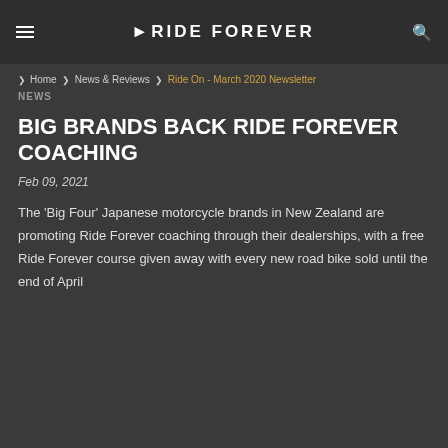RIDE FOREVER
Home > News & Reviews > Ride On - March 2020 Newsletter
NEWS
BIG BRANDS BACK RIDE FOREVER COACHING
Feb 09, 2021
The 'Big Four' Japanese motorcycle brands in New Zealand are promoting Ride Forever coaching through their dealerships, with a free Ride Forever course given away with every new road bike sold until the end of April